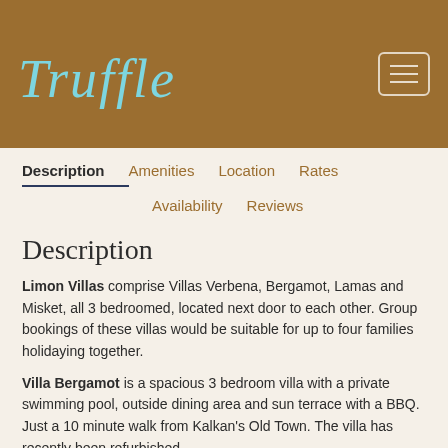[Figure (logo): Truffle logo with decorative flourish and teal italic text on brown background with hamburger menu button]
Description | Amenities | Location | Rates | Availability | Reviews
Description
Limon Villas comprise Villas Verbena, Bergamot, Lamas and Misket, all 3 bedroomed, located next door to each other. Group bookings of these villas would be suitable for up to four families holidaying together.
Villa Bergamot is a spacious 3 bedroom villa with a private swimming pool, outside dining area and sun terrace with a BBQ. Just a 10 minute walk from Kalkan's Old Town. The villa has recently been refurbished.
Villa Bergamot offers a good location and fabulous sea views from the roof terrace. Just a 10 minute walk from Kalkan's Old Town, Villa Bergamot is ideally situated in a quiet part of town just off the Kalamar Road, but close enough to be able to